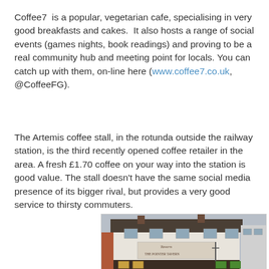Coffee7 is a popular, vegetarian cafe, specialising in very good breakfasts and cakes. It also hosts a range of social events (games nights, book readings) and proving to be a real community hub and meeting point for locals. You can catch up with them, on-line here (www.coffee7.co.uk, @CoffeeFG).
The Artemis coffee stall, in the rotunda outside the railway station, is the third recently opened coffee retailer in the area. A fresh £1.70 coffee on your way into the station is good value. The stall doesn't have the same social media presence of its bigger rival, but provides a very good service to thirsty commuters.
[Figure (photo): Photograph of a pub building called The Pointer Tavern, a white-rendered two-storey building with a dark roof, multiple windows, and signage. Street-level view showing the pub facade.]